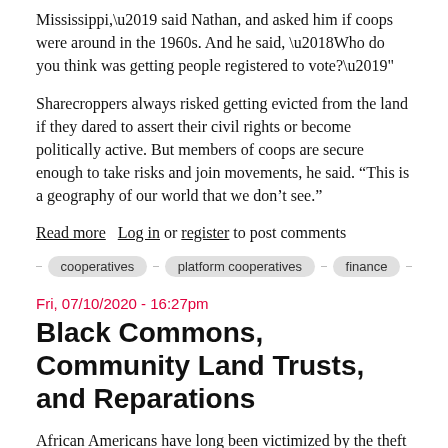Mississippi,' said Nathan, and asked him if coops were around in the 1960s. And he said, 'Who do you think was getting people registered to vote?'"
Sharecroppers always risked getting evicted from the land if they dared to assert their civil rights or become politically active. But members of coops are secure enough to take risks and join movements, he said. “This is a geography of our world that we don’t see.”
Read more   Log in or register to post comments
cooperatives
platform cooperatives
finance
Fri, 07/10/2020 - 16:27pm
Black Commons, Community Land Trusts, and Reparations
African Americans have long been victimized by the theft of their land, labor, and the ability to buy land as they wish. Following the Civil War, few former slaves actually received the 40 acres and a mule promised them, and in